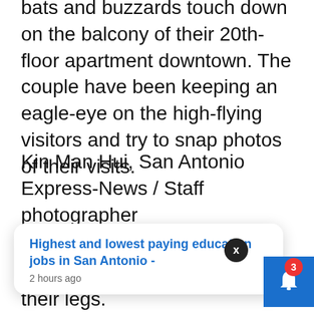bats and buzzards touch down on the balcony of their 20th-floor apartment downtown. The couple have been keeping an eagle-eye on the high-flying visitors and try to snap photos of their visits.
Kin Man Hui, San Antonio Express-News / Staff photographer
The falcons were identified by bands the programs placed on their legs.
Highest and lowest paying education jobs in San Antonio -
2 hours ago
Minneapolis. Kumara and Jariwala said